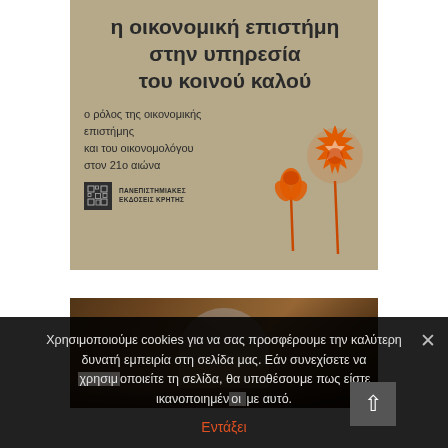[Figure (illustration): Book cover with tan/beige background showing Greek text title 'η οικονομική επιστήμη στην υπηρεσία του κοινού καλού' with subtitle about role of economics in the 21st century and orange dandelion/flower decorations and publisher logo 'Πανεπιστημιακές Εκδόσεις Κρήτης']
[Figure (photo): Photograph showing a shop or market interior with wooden/antique items and warm brown tones]
Χρησιμοποιούμε cookies για να σας προσφέρουμε την καλύτερη δυνατή εμπειρία στη σελίδα μας. Εάν συνεχίσετε να χρησιμοποιείτε τη σελίδα, θα υποθέσουμε πως είστε ικανοποιημένοι με αυτό.
Εντάξει